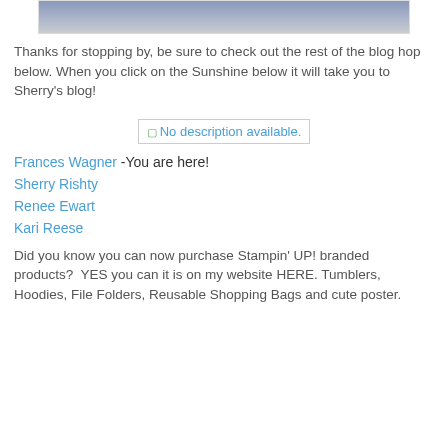[Figure (photo): Top portion of a cropped image with blue-gray gradient colors, appears to be a crafting/stamp card photo]
Thanks for stopping by, be sure to check out the rest of the blog hop below. When you click on the Sunshine below it will take you to Sherry's blog!
[Figure (other): No description available. - image placeholder for a sunshine graphic link]
Frances Wagner -You are here!
Sherry Rishty
Renee Ewart
Kari Reese
Did you know you can now purchase Stampin' UP! branded products?  YES you can it is on my website HERE. Tumblers, Hoodies, File Folders, Reusable Shopping Bags and cute poster.